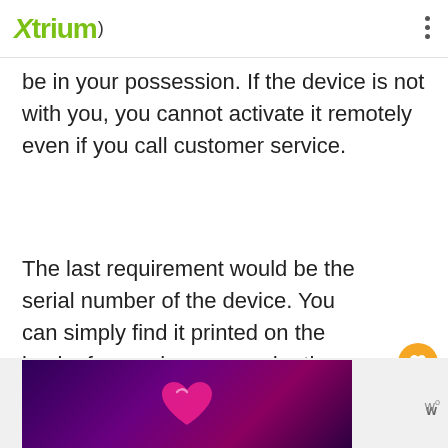Xtrium
be in your possession. If the device is not with you, you cannot activate it remotely even if you call customer service.
The last requirement would be the serial number of the device. You can simply find it printed on the back of your phone or under the battery.
[Figure (illustration): Purple/magenta gradient banner image with a pink heart icon in the center. To the right of the banner is a small logo with stylized 'w' and degree symbol.]